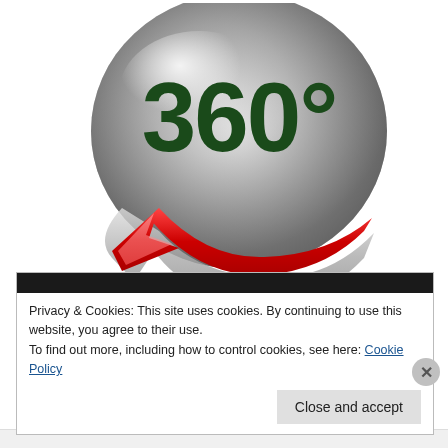[Figure (illustration): A 360 degree rotation icon: a large silver/grey metallic sphere with the text '360°' in dark green bold numerals, and a red curved arrow pointing left wrapping around the bottom of the sphere, with a silver arrow outline behind the red arrow.]
Privacy & Cookies: This site uses cookies. By continuing to use this website, you agree to their use.
To find out more, including how to control cookies, see here: Cookie Policy